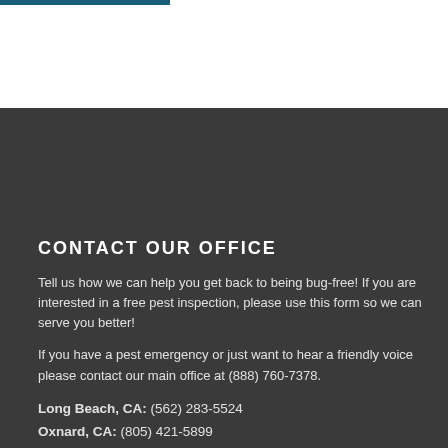CONTACT OUR OFFICE
Tell us how we can help you get back to being bug-free! If you are interested in a free pest inspection, please use this form so we can serve you better!
If you have a pest emergency or just want to hear a friendly voice please contact our main office at (888) 760-7378.
Long Beach, CA: (562) 283-5524
Oxnard, CA: (805) 421-5899
Lancaster, CA: (661) 220-5338